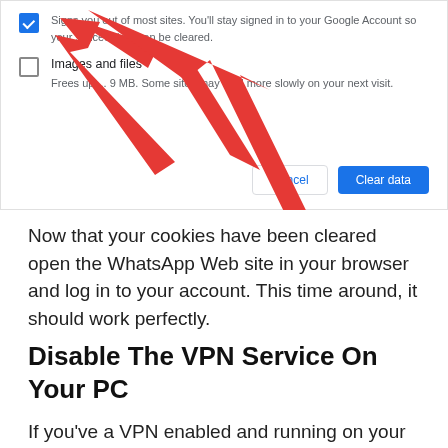[Figure (screenshot): Chrome browser dialog showing 'Clear browsing data' checkboxes. First checkbox (checked, blue) with text 'Signs you out of most sites. You'll stay signed in to your Google Account so your synced data can be cleared.' Second checkbox (unchecked) with label 'Images and files' and description 'Frees up ... 9 MB. Some sites may load more slowly on your next visit.' A red arrow points to the checked checkbox. Buttons: Cancel and Clear data (blue).]
Now that your cookies have been cleared open the WhatsApp Web site in your browser and log in to your account. This time around, it should work perfectly.
Disable The VPN Service On Your PC
If you've a VPN enabled and running on your PC, you